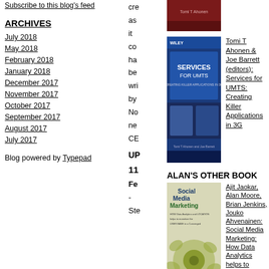Subscribe to this blog's feed
ARCHIVES
July 2018
May 2018
February 2018
January 2018
December 2017
November 2017
October 2017
September 2017
August 2017
July 2017
Blog powered by Typepad
cre
as
it
co
ha
be
wri
by
No
ne
CE
UP
11
Fe
-
Ste
[Figure (photo): Book cover with red/dark background]
[Figure (photo): Services for UMTS book cover - blue background with text 'SERVICES FOR UMTS: CREATING KILLER APPLICATIONS IN 3G']
Tomi T Ahonen & Joe Barrett (editors): Services for UMTS: Creating Killer Applications in 3G
ALAN'S OTHER BOOK
[Figure (photo): Social Media Marketing book cover - light green/yellow background with flower design]
Ajit Jaokar, Alan Moore, Brian Jenkins, Jouko Ahvenainen: Social Media Marketing: How Data Analytics helps to monetize the User Base in Telecoms, Social Networks, Media and Advertising in a Converged
Ste